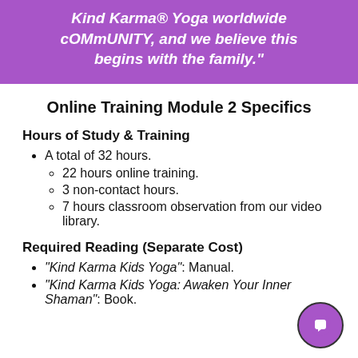Kind Karma® Yoga worldwide cOMmUNITY, and we believe this begins with the family."
Online Training Module 2 Specifics
Hours of Study & Training
A total of 32 hours.
22 hours online training.
3 non-contact hours.
7 hours classroom observation from our video library.
Required Reading (Separate Cost)
"Kind Karma Kids Yoga": Manual.
"Kind Karma Kids Yoga: Awaken Your Inner Shaman": Book.